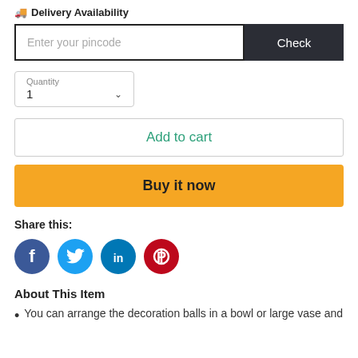🚚 Delivery Availability
Enter your pincode | Check
Quantity
1
Add to cart
Buy it now
Share this:
[Figure (infographic): Social share icons: Facebook (blue circle with f), Twitter (light blue circle with bird), LinkedIn (dark blue circle with in), Pinterest (red circle with P)]
About This Item
You can arrange the decoration balls in a bowl or large vase and